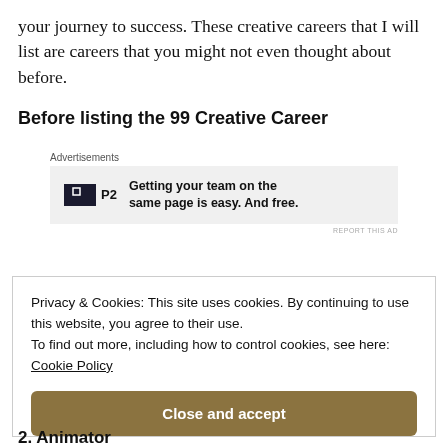your journey to success. These creative careers that I will list are careers that you might not even thought about before.
Before listing the 99 Creative Career
[Figure (screenshot): Advertisement banner: P2 logo with text 'Getting your team on the same page is easy. And free.' on grey background with 'REPORT THIS AD' label.]
Privacy & Cookies: This site uses cookies. By continuing to use this website, you agree to their use.
To find out more, including how to control cookies, see here:
Cookie Policy
Close and accept
2. Animator